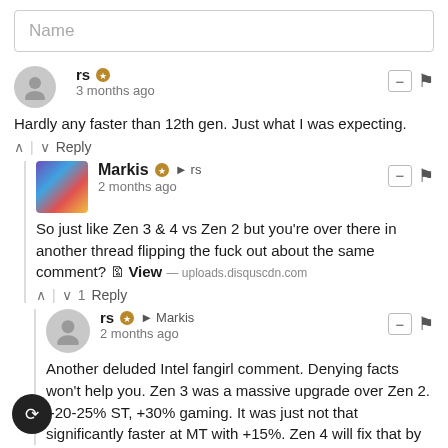Name
rs • 3 months ago
Hardly any faster than 12th gen. Just what I was expecting.
Markis → rs • 2 months ago
So just like Zen 3 & 4 vs Zen 2 but you're over there in another thread flipping the fuck out about the same comment? View — uploads.disquscdn.com
rs → Markis • 2 months ago
Another deluded Intel fangirl comment. Denying facts won't help you. Zen 3 was a massive upgrade over Zen 2. +20-25% ST, +30% gaming. It was just not that significantly faster at MT with +15%. Zen 4 will fix that by